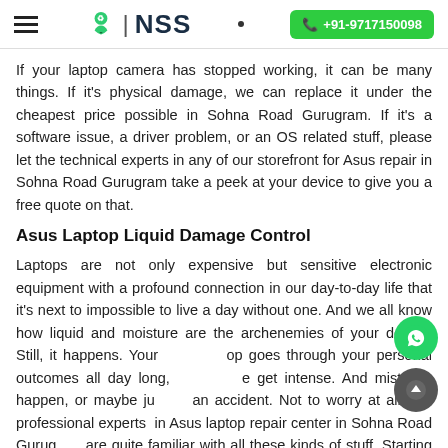NSS | +91-9717150098
If your laptop camera has stopped working, it can be many things. If it's physical damage, we can replace it under the cheapest price possible in Sohna Road Gurugram. If it's a software issue, a driver problem, or an OS related stuff, please let the technical experts in any of our storefront for Asus repair in Sohna Road Gurugram take a peek at your device to give you a free quote on that.
Asus Laptop Liquid Damage Control
Laptops are not only expensive but sensitive electronic equipment with a profound connection in our day-to-day life that it's next to impossible to live a day without one. And we all know how liquid and moisture are the archenemies of your device. Still, it happens. Your laptop goes through your personal outcomes all day long, things get intense. And mistakes happen, or maybe just an accident. Not to worry at all, our professional experts in Asus laptop repair center in Sohna Road Gurugram are quite familiar with all these kinds of stuff. Starting with the lowest price the charge depends on the corrosion or liquid